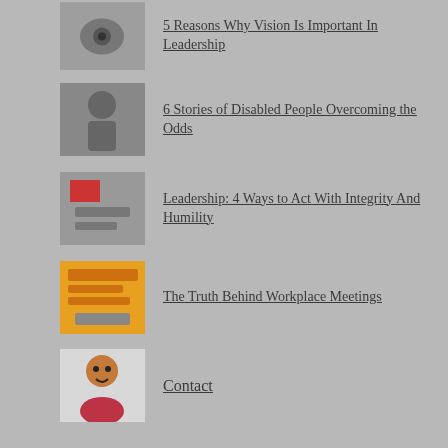5 Reasons Why Vision Is Important In Leadership
6 Stories of Disabled People Overcoming the Odds
Leadership: 4 Ways to Act With Integrity And Humility
The Truth Behind Workplace Meetings
Contact
5 Ways to Make Yourself Look Unrecognizable
Challenges You'll Face Working With The Elderly
Signs You Need to Take Better Care Of Your Mental Health